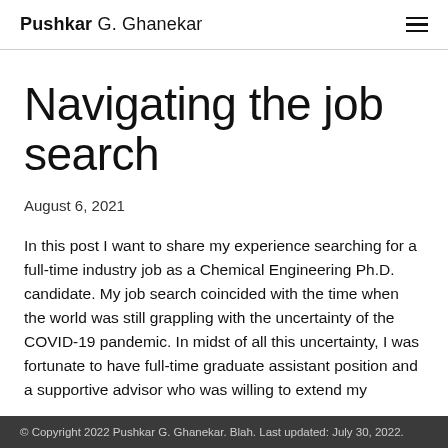Pushkar G. Ghanekar
Navigating the job search
August 6, 2021
In this post I want to share my experience searching for a full-time industry job as a Chemical Engineering Ph.D. candidate. My job search coincided with the time when the world was still grappling with the uncertainty of the COVID-19 pandemic. In midst of all this uncertainty, I was fortunate to have full-time graduate assistant position and a supportive advisor who was willing to extend my
© Copyright 2022 Pushkar G. Ghanekar. Blah. Last updated: July 30, 2022.